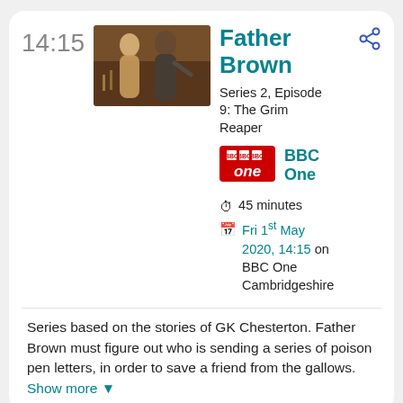14:15
[Figure (photo): A scene from Father Brown showing two people, a woman and a man, in period costume, appearing to dance or embrace indoors.]
Father Brown
Series 2, Episode 9: The Grim Reaper
[Figure (logo): BBC One logo — red rectangle with BBC squares and 'one' in white italic text]
BBC One
45 minutes
Fri 1st May 2020, 14:15 on BBC One Cambridgeshire
Series based on the stories of GK Chesterton. Father Brown must figure out who is sending a series of poison pen letters, in order to save a friend from the gallows. Show more ▼